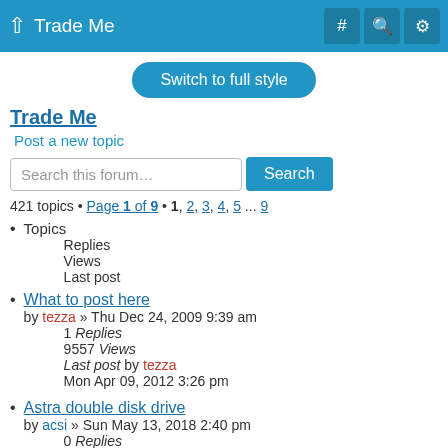Trade Me
Switch to full style
Trade Me
Post a new topic
Search this forum…
421 topics • Page 1 of 9 • 1, 2, 3, 4, 5 ... 9
Topics
Replies
Views
Last post
What to post here
by tezza » Thu Dec 24, 2009 9:39 am
1 Replies
9557 Views
Last post by tezza
Mon Apr 09, 2012 3:26 pm
Astra double disk drive
by acsi » Sun May 13, 2018 2:40 pm
0 Replies
11236 Views
Last post by acsi
Sun May 13, 2018 2:40 pm